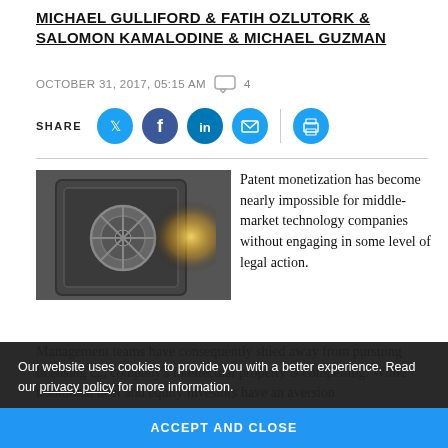MICHAEL GULLIFORD & FATIH OZLUTORK & SALOMON KAMALODINE & MICHAEL GUZMAN
OCTOBER 31, 2017, 05:15 AM  [comment icon] 4
SHARE [Twitter] [Facebook] [LinkedIn] [Email] | [Print]
[Figure (photo): Photo of a large metal bank vault door with a circular locking wheel, backlit with bright light.]
Patent monetization has become nearly impossible for middle-market technology companies without engaging in some level of legal action. Management teams have consequently shied away from pursuing licensing c... company's intellectual property is compelling. While traditional debt and equity investors have an aversion
Our website uses cookies to provide you with a better experience. Read our privacy policy for more information.
ACCEPT AND CLOSE